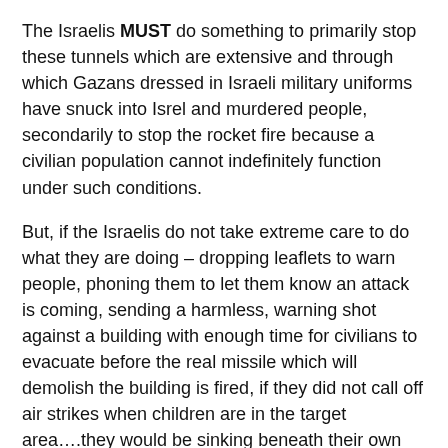The Israelis MUST do something to primarily stop these tunnels which are extensive and through which Gazans dressed in Israeli military uniforms have snuck into Isrel and murdered people, secondarily to stop the rocket fire because a civilian population cannot indefinitely function under such conditions.
But, if the Israelis do not take extreme care to do what they are doing – dropping leaflets to warn people, phoning them to let them know an attack is coming, sending a harmless, warning shot against a building with enough time for civilians to evacuate before the real missile which will demolish the building is fired, if they did not call off air strikes when children are in the target area….they would be sinking beneath their own level of civilization!!!
After all, some of these Gazans may have voted in